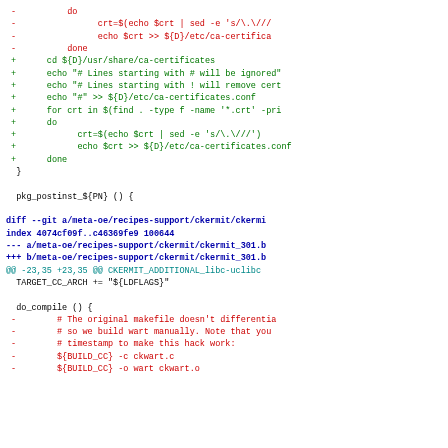[Figure (screenshot): A code diff showing changes to shell script and git diff for ca-certificates and ckermit recipe files. Removed lines in red, added lines in green, diff headers in bold blue, hunk headers in cyan.]